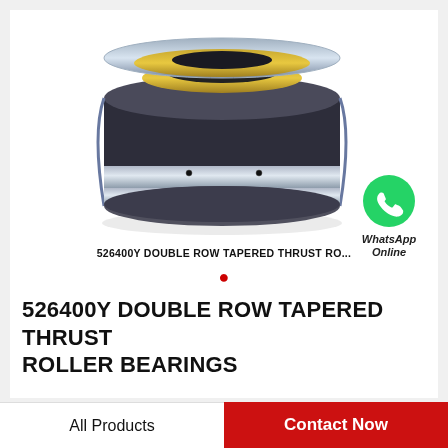[Figure (photo): Photograph of a 526400Y double row tapered thrust roller bearing — a thick cylindrical steel ring with dark blue/grey outer race and polished silver inner race with gold/brass colored inner rings visible from the top.]
526400Y DOUBLE ROW TAPERED THRUST RO...
[Figure (logo): WhatsApp green circle icon with white phone handset, with text 'WhatsApp Online' below it in bold italic.]
526400Y DOUBLE ROW TAPERED THRUST ROLLER BEARINGS
All Products   Contact Now